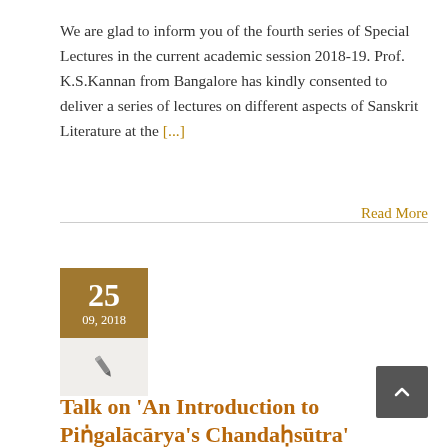We are glad to inform you of the fourth series of Special Lectures in the current academic session 2018-19. Prof. K.S.Kannan from Bangalore has kindly consented to deliver a series of lectures on different aspects of Sanskrit Literature at the [...]
Read More
[Figure (other): Date badge showing '25' on top in gold/brown background with white text, and '09, 2018' below it, with a light grey panel beneath containing a pencil/pen icon]
Talk on 'An Introduction to Piṅgalācārya's Chandaḥsūtra'